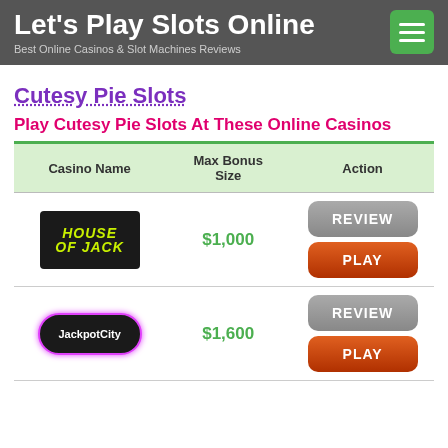Let's Play Slots Online | Best Online Casinos & Slot Machines Reviews
Cutesy Pie Slots
Play Cutesy Pie Slots At These Online Casinos
| Casino Name | Max Bonus Size | Action |
| --- | --- | --- |
| House of Jack | $1,000 | REVIEW / PLAY |
| JackpotCity | $1,600 | REVIEW / PLAY |